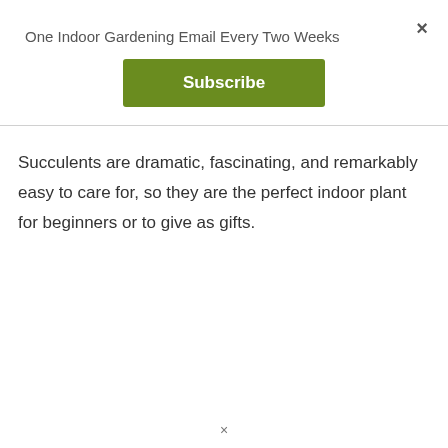×
One Indoor Gardening Email Every Two Weeks
Subscribe
Succulents are dramatic, fascinating, and remarkably easy to care for, so they are the perfect indoor plant for beginners or to give as gifts.
×